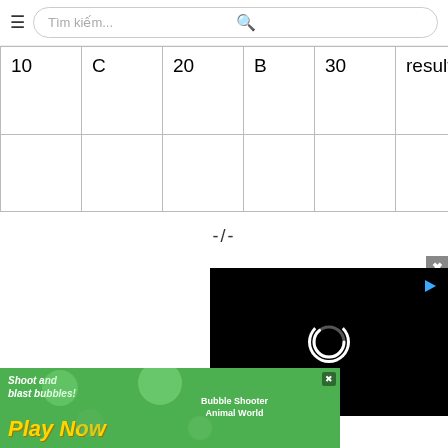[Figure (screenshot): Mobile browser search bar with hamburger menu icon on left, search input field with placeholder 'Tìm kiếm...' and magnifier icon on right]
| 10 | C | 20 | B | 30 | resulting | 40 | everyb expec she lo |
-/-
[Figure (screenshot): Video player overlay showing black screen with loading spinner and small icon, with close X button in top-right corner]
[Figure (screenshot): Advertisement banner for mobile game 'Bubble Shooter Animal World' with text 'Shoot and blast bubbles! Play Now']